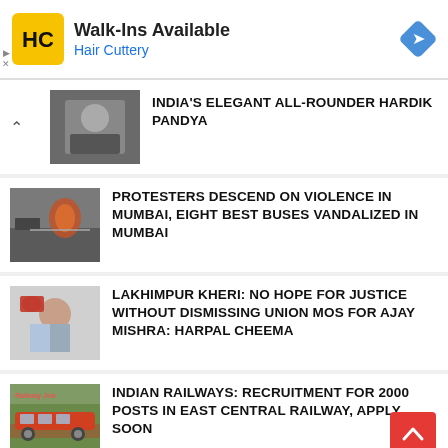[Figure (infographic): Hair Cuttery advertisement banner: Walk-Ins Available with HC logo and navigation arrow icon]
INDIA'S ELEGANT ALL-ROUNDER HARDIK PANDYA
PROTESTERS DESCEND ON VIOLENCE IN MUMBAI, EIGHT BEST BUSES VANDALIZED IN MUMBAI
LAKHIMPUR KHERI: NO HOPE FOR JUSTICE WITHOUT DISMISSING UNION MoS FOR AJAY MISHRA: HARPAL CHEEMA
INDIAN RAILWAYS: RECRUITMENT FOR 2000 POSTS IN EAST CENTRAL RAILWAY, APPLY SOON